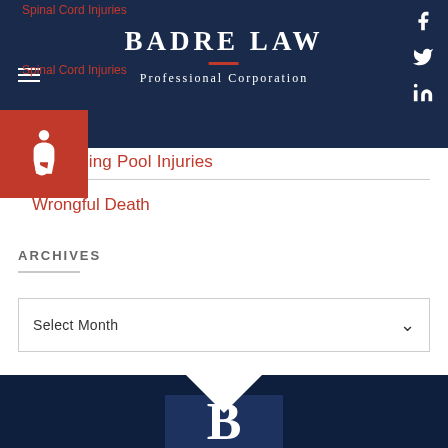BADRE LAW Professional Corporation
Swimming Pool Injuries
Wrongful Death
ARCHIVES
Select Month
[Figure (logo): Badre Law Professional Corporation logo with large B letter on dark navy background]